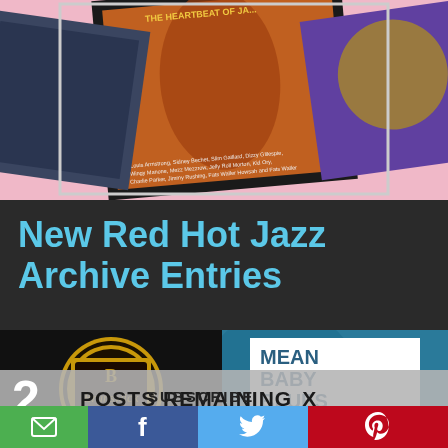[Figure (photo): Top image showing jazz album covers collage on pink background with a musician playing drums]
New Red Hot Jazz Archive Entries
[Figure (photo): Brunswick record label logo on black background]
[Figure (photo): Mean Baby Blues album cover - Robinson's Knights of Rest, on blue background]
2 POSTS REMAINING X
SUBSCRIBE